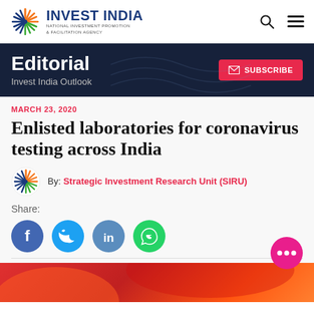INVEST INDIA — NATIONAL INVESTMENT PROMOTION & FACILITATION AGENCY
Editorial — Invest India Outlook
MARCH 23, 2020
Enlisted laboratories for coronavirus testing across India
By: Strategic Investment Research Unit (SIRU)
Share: